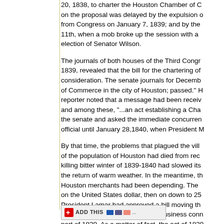20, 1838, to charter the Houston Chamber of Commerce; action on the proposal was delayed by the expulsion of a member from Congress on January 7, 1839; and by the events of January 11th, when a mob broke up the session with a protest against the election of Senator Wilson.
The journals of both houses of the Third Congress, dated January, 1839, revealed that the bill for the chartering of the Chamber was in consideration. The senate journals for December noted "a Chamber of Commerce in the city of Houston; passed." However, the House reporter noted that a message had been received from the senate, and among these, "...an act establishing a Chamber of Commerce" passed the senate and asked the immediate concurrence of the house. This was not official until January 28,1840, when President Mirabeau Lamar signed it.
By that time, the problems that plagued the village had increased. Many of the population of Houston had died from recurring epidemics. The killing bitter winter of 1839-1840 had slowed its business activities until the return of warm weather. In the meantime, the paper money on which Houston merchants had been depending. The money had dropped to 50 cents on the United States dollar, then on down to 25 cents. On April 5, 1839, President Lamar had approved a bill moving the capital to an inland site called "Waterloo." Governmental business continued in Houston during part of 1839. As a matter of fact, the act of 1839 required Houston to remain capital until the end of the legislative session of 1840. Government archives were loaded into wagons for the journey to Austin, and the telegraph office at the Capital: "For lease to responsible parties." A company had just been formed of the "Houston Morning Star," Texas' first daily newspaper; the office was rented in less than a month.
[Figure (other): AddThis social bookmarking widget bar with red plus icon, ADD THIS text, and social sharing icons including del.icio.us, digg, and Windows Live]